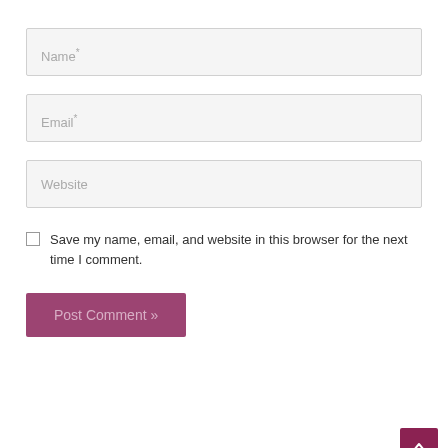Name*
Email*
Website
Save my name, email, and website in this browser for the next time I comment.
Post Comment »